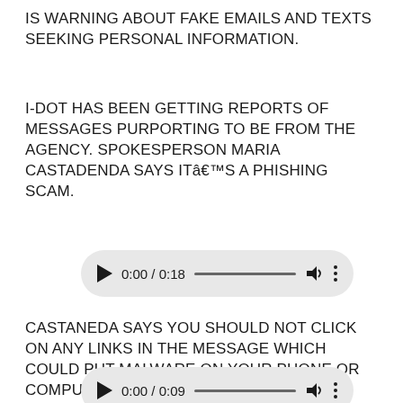IS WARNING ABOUT FAKE EMAILS AND TEXTS SEEKING PERSONAL INFORMATION.
I-DOT HAS BEEN GETTING REPORTS OF MESSAGES PURPORTING TO BE FROM THE AGENCY. SPOKESPERSON MARIA CASTADENDA SAYS ITâ€™S A PHISHING SCAM.
[Figure (other): Audio player widget showing 0:00 / 0:18 with play button, progress bar, volume icon, and more options button]
CASTANEDA SAYS YOU SHOULD NOT CLICK ON ANY LINKS IN THE MESSAGE WHICH COULD PUT MALWARE ON YOUR PHONE OR COMPUTER.
[Figure (other): Audio player widget showing 0:00 / 0:09 with play button, progress bar, volume icon, and more options button]